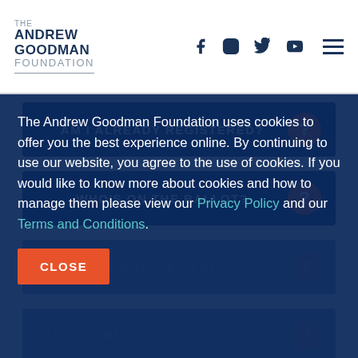[Figure (logo): The Andrew Goodman Foundation logo with social media icons (Facebook, Instagram, Twitter, YouTube) and hamburger menu]
AM I ALREADY REGISTERED?
WHO'S ON THE BALLOT?
The Andrew Goodman Foundation uses cookies to offer you the best experience online. By continuing to use our website, you agree to the use of cookies. If you would like to know more about cookies and how to manage them please view our Privacy Policy and our Terms and Conditions.
CLOSE